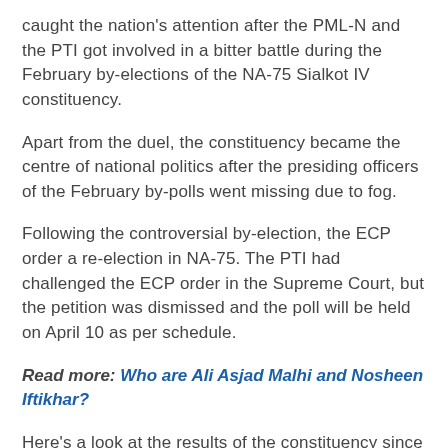caught the nation's attention after the PML-N and the PTI got involved in a bitter battle during the February by-elections of the NA-75 Sialkot IV constituency.
Apart from the duel, the constituency became the centre of national politics after the presiding officers of the February by-polls went missing due to fog.
Following the controversial by-election, the ECP order a re-election in NA-75. The PTI had challenged the ECP order in the Supreme Court, but the petition was dismissed and the poll will be held on April 10 as per schedule.
Read more: Who are Ali Asjad Malhi and Nosheen Iftikhar?
Here's a look at the results of the constituency since 1970.